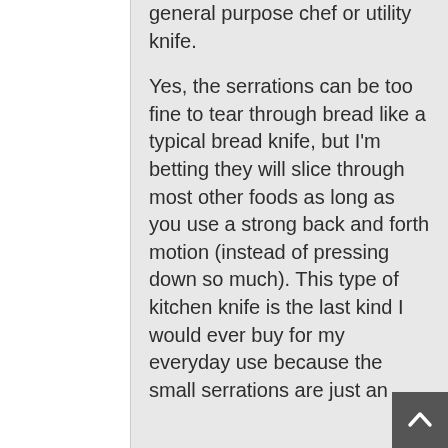general purpose chef or utility knife.
Yes, the serrations can be too fine to tear through bread like a typical bread knife, but I'm betting they will slice through most other foods as long as you use a strong back and forth motion (instead of pressing down so much). This type of kitchen knife is the last kind I would ever buy for my everyday use because the small serrations are just an